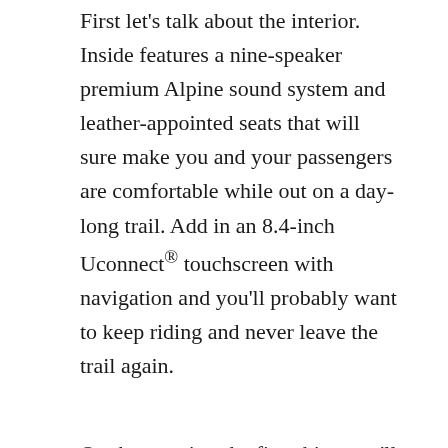First let's talk about the interior. Inside features a nine-speaker premium Alpine sound system and leather-appointed seats that will sure make you and your passengers are comfortable while out on a day-long trail. Add in an 8.4-inch Uconnect® touchscreen with navigation and you'll probably want to keep riding and never leave the trail again.
On the exterior, the first thing you'll probably see is the unique Moab hood decal, which will let you know that this is indeed the Moab Edition, a well-appointed Jeep that is based on the Jeep Wrangler Sahara and inspired by Moab, UT which features the best and most grueling trails in the country.
The second thing you'll notice are its wheels,